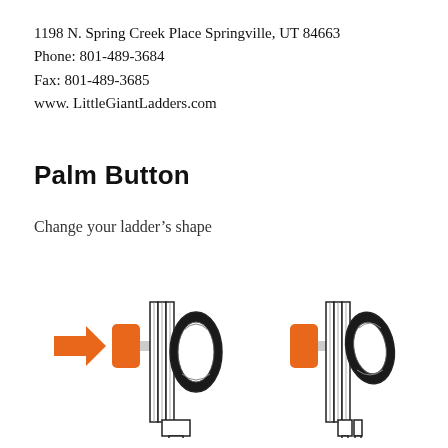1198 N. Spring Creek Place Springville, UT 84663
Phone: 801-489-3684
Fax: 801-489-3685
www. LittleGiantLadders.com
Palm Button
Change your ladder’s shape
[Figure (engineering-diagram): Two side-by-side diagrams of a ladder Palm Button mechanism. Left diagram shows an orange arrow pointing right toward an orange button on the left side of a hinge/pivot assembly with ribbed housing and a lower bracket. Right diagram shows the same mechanism from a slightly different angle with the button pressed and the hinge opened/unlocked.]